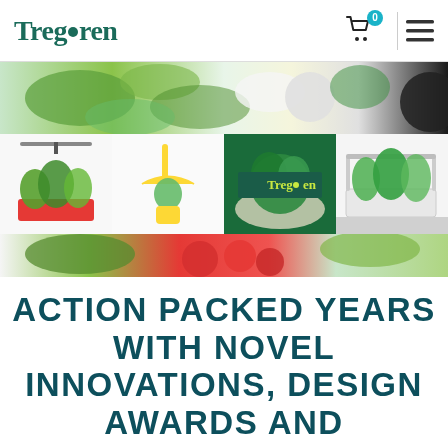Tregren
[Figure (photo): Tregren website screenshot showing logo/nav bar at top, a collage of indoor garden product photos and vegetable images in the middle, and a large headline text below]
ACTION PACKED YEARS WITH NOVEL INNOVATIONS, DESIGN AWARDS AND